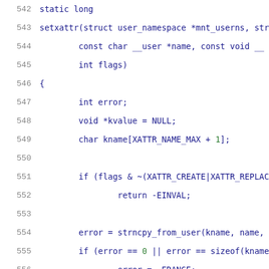[Figure (screenshot): C source code listing showing lines 542-563, implementing a setxattr function. Line numbers are shown in gray on the left. Code is in monospace font with blue coloring for keywords and identifiers.]